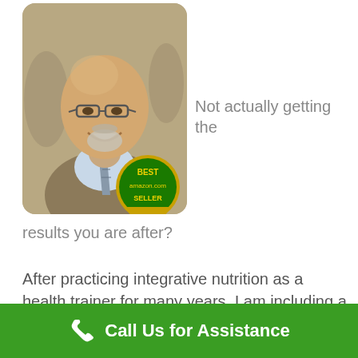[Figure (photo): Bald man with glasses and a goatee, smiling, wearing a suit and tie, with an amazon.com Best Seller badge overlay in bottom right corner of photo]
Not actually getting the results you are after?
After practicing integrative nutrition as a health trainer for many years, I am including a new level
Call Us for Assistance